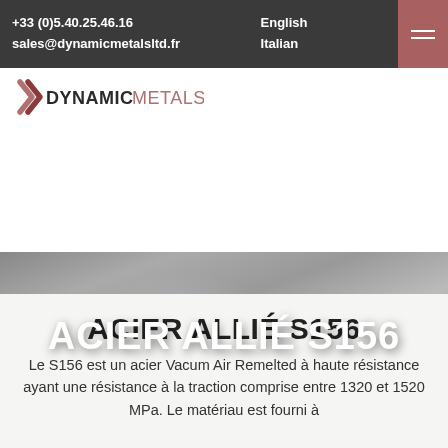+33 (0)5.40.25.46.16  sales@dynamicmetalsltd.fr  English  Italian
[Figure (logo): Dynamic Metals logo with stylized chevron icon in dark rose/copper color, text DYNAMIC in dark gray bold and METALS in rose/copper color]
ACIER ALLIÉ S156
ACIER ALLIÉ S156
Le S156 est un acier Vacum Air Remelted à haute résistance ayant une résistance à la traction comprise entre 1320 et 1520 MPa. Le matériau est fourni à